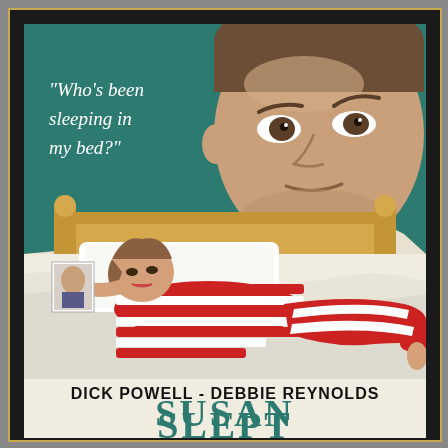[Figure (illustration): Vintage movie poster for 'Susan Slept Here' featuring Dick Powell and Debbie Reynolds. Top half shows a teal/green background with a large illustrated face of a man (Dick Powell) with a raised eyebrow expression, and white italic text quote 'Who's been sleeping in my bed?'. Middle section shows an illustrated scene of a woman in red and white striped outfit lying on a bed with white pillows and a golden headboard, holding a picture. Bottom shows actors' names 'DICK POWELL - DEBBIE REYNOLDS' in bold black, and the movie title 'SUSAN SLEPT' in large teal lettering.]